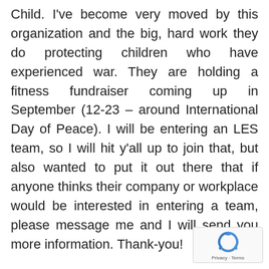Child. I've become very moved by this organization and the big, hard work they do protecting children who have experienced war. They are holding a fitness fundraiser coming up in September (12-23 – around International Day of Peace). I will be entering an LES team, so I will hit y'all up to join that, but also wanted to put it out there that if anyone thinks their company or workplace would be interested in entering a team, please message me and I will send you more information. Thank-you!
[Figure (logo): Google reCAPTCHA badge with recycling-style arrow icon and 'Privacy · Terms' text]